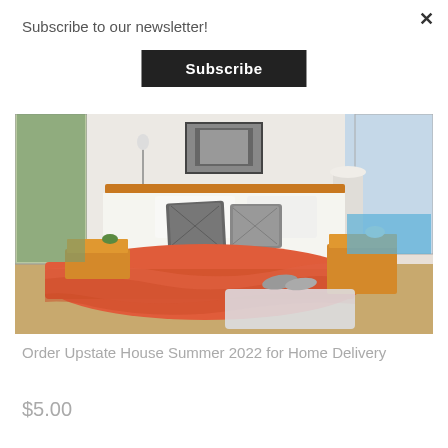×
Subscribe to our newsletter!
Subscribe
[Figure (photo): Bedroom with a wooden platform bed, orange/coral duvet, patterned throw pillows, two nightstands with lamps, a framed black and white artwork above the headboard, large windows showing outdoor trees and a pool on the right.]
Order Upstate House Summer 2022 for Home Delivery
$5.00